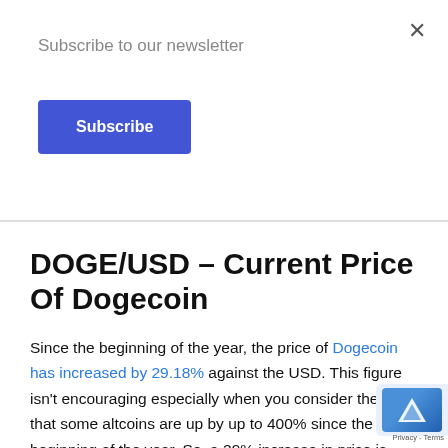Subscribe to our newsletter
Subscribe
DOGE/USD – Current Price Of Dogecoin
Since the beginning of the year, the price of Dogecoin has increased by 29.18% against the USD. This figure isn't encouraging especially when you consider the fact that some altcoins are up by up to 400% since the beginning of the year. So, a 29% increase in price is nothing special. In fact, it is cause for alarm. If Dogecoin doesn't gain bullish momentum fast and start rising in line with the rest of the altcoin m... there is a high chance that the price of the token will fa... significant downtrend that would drag it as low is $0.000 before